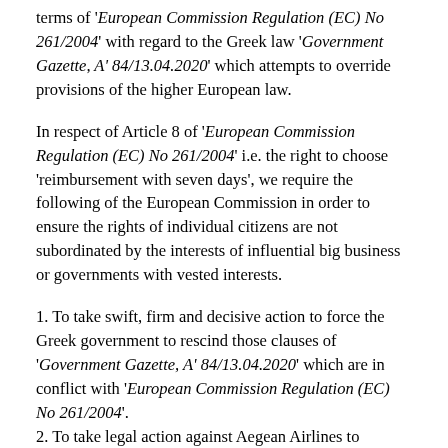terms of 'European Commission Regulation (EC) No 261/2004' with regard to the Greek law 'Government Gazette, A' 84/13.04.2020' which attempts to override provisions of the higher European law.
In respect of Article 8 of 'European Commission Regulation (EC) No 261/2004' i.e. the right to choose 'reimbursement with seven days', we require the following of the European Commission in order to ensure the rights of individual citizens are not subordinated by the interests of influential big business or governments with vested interests.
1. To take swift, firm and decisive action to force the Greek government to rescind those clauses of 'Government Gazette, A' 84/13.04.2020' which are in conflict with 'European Commission Regulation (EC) No 261/2004'.
2. To take legal action against Aegean Airlines to